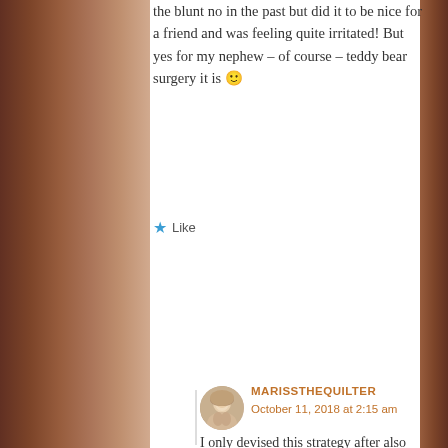the blunt no in the past but did it to be nice for a friend and was feeling quite irritated! But yes for my nephew – of course – teddy bear surgery it is 🙂
Like
MARISSTHEQUILTER
October 11, 2018 at 2:15 am
I only devised this strategy after also being irritated by mending for friends.
Liked by 1 person